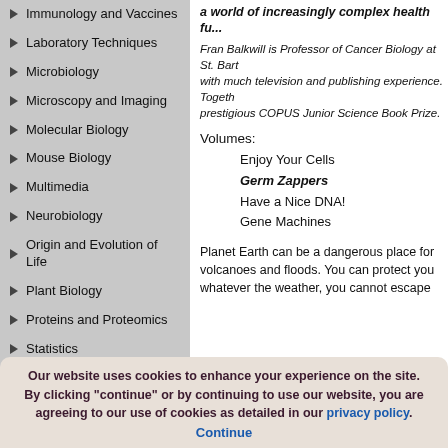Immunology and Vaccines
Laboratory Techniques
Microbiology
Microscopy and Imaging
Molecular Biology
Mouse Biology
Multimedia
Neurobiology
Origin and Evolution of Life
Plant Biology
Proteins and Proteomics
Statistics
Viruses
Xenopus laevis
Yeast
a world of increasingly complex health fu...
Fran Balkwill is Professor of Cancer Biology at St. Bartholomew's... with much television and publishing experience. Together... prestigious COPUS Junior Science Book Prize.
Volumes:
Enjoy Your Cells
Germ Zappers
Have a Nice DNA!
Gene Machines
Planet Earth can be a dangerous place for... volcanoes and floods. You can protect you... whatever the weather, you cannot escape...
Our website uses cookies to enhance your experience on the site. By clicking "continue" or by continuing to use our website, you are agreeing to our use of cookies as detailed in our privacy policy. Continue